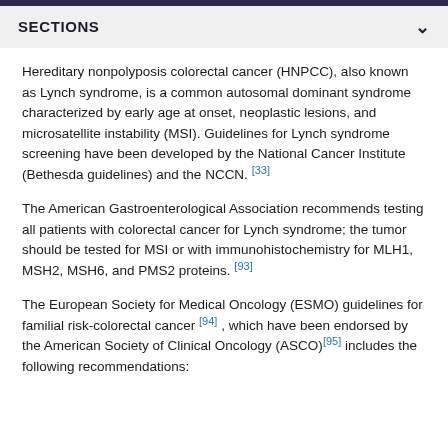SECTIONS
Hereditary nonpolyposis colorectal cancer (HNPCC), also known as Lynch syndrome, is a common autosomal dominant syndrome characterized by early age at onset, neoplastic lesions, and microsatellite instability (MSI). Guidelines for Lynch syndrome screening have been developed by the National Cancer Institute (Bethesda guidelines) and the NCCN. [33]
The American Gastroenterological Association recommends testing all patients with colorectal cancer for Lynch syndrome; the tumor should be tested for MSI or with immunohistochemistry for MLH1, MSH2, MSH6, and PMS2 proteins. [93]
The European Society for Medical Oncology (ESMO) guidelines for familial risk-colorectal cancer [94] , which have been endorsed by the American Society of Clinical Oncology (ASCO) [95] includes the following recommendations: